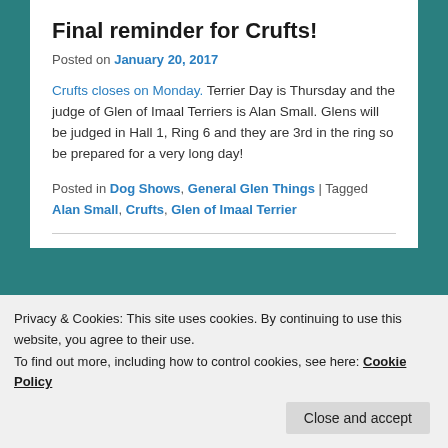Final reminder for Crufts!
Posted on January 20, 2017
Crufts closes on Monday. Terrier Day is Thursday and the judge of Glen of Imaal Terriers is Alan Small. Glens will be judged in Hall 1, Ring 6 and they are 3rd in the ring so be prepared for a very long day!
Posted in Dog Shows, General Glen Things | Tagged Alan Small, Crufts, Glen of Imaal Terrier
Privacy & Cookies: This site uses cookies. By continuing to use this website, you agree to their use. To find out more, including how to control cookies, see here: Cookie Policy
officiating. Appointments ARE REQUIRED. Please get in